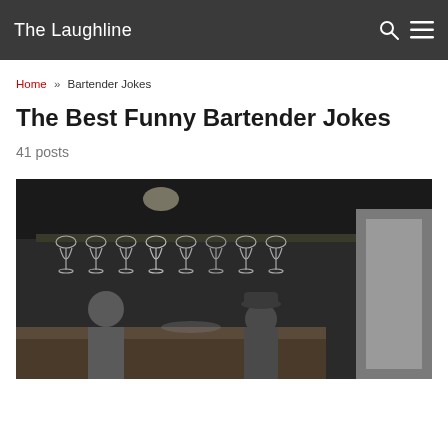The Laughline
Home » Bartender Jokes
The Best Funny Bartender Jokes
41 posts
[Figure (photo): Black and white photo of a bar interior showing wine glasses hanging upside down from a rack, with people visible below at the bar counter]